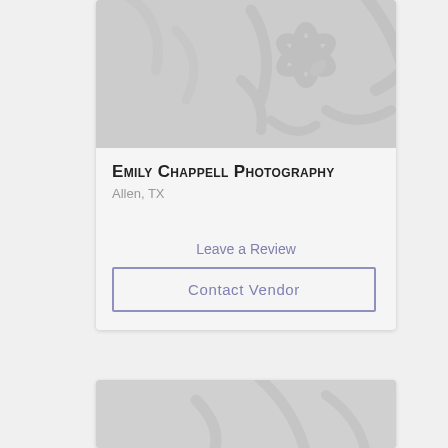[Figure (screenshot): Vendor card for Emily Chappell Photography showing a gray placeholder image with a floral/snowflake watermark pattern, the business name, location, a 'Leave a Review' link, and a 'Contact Vendor' button.]
Emily Chappell Photography
Allen, TX
Leave a Review
Contact Vendor
[Figure (screenshot): Partial second vendor card at bottom of page, showing only the top gray placeholder image portion.]